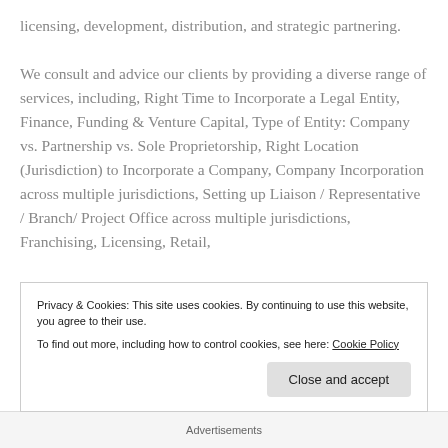licensing, development, distribution, and strategic partnering.

We consult and advice our clients by providing a diverse range of services, including, Right Time to Incorporate a Legal Entity, Finance, Funding & Venture Capital, Type of Entity: Company vs. Partnership vs. Sole Proprietorship, Right Location (Jurisdiction) to Incorporate a Company, Company Incorporation across multiple jurisdictions, Setting up Liaison / Representative / Branch/ Project Office across multiple jurisdictions, Franchising, Licensing, Retail,
Privacy & Cookies: This site uses cookies. By continuing to use this website, you agree to their use.
To find out more, including how to control cookies, see here: Cookie Policy
Close and accept
Advertisements